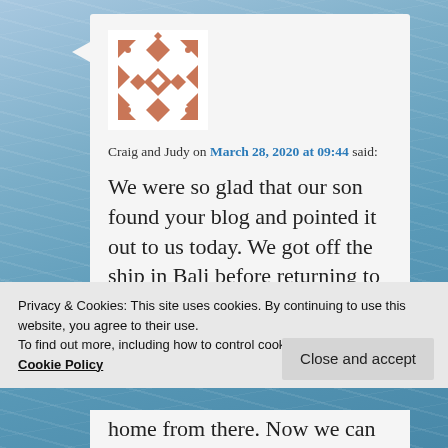[Figure (illustration): Decorative geometric pattern avatar with terracotta/salmon colored triangles, diamonds, and chevron shapes on white background]
Craig and Judy on March 28, 2020 at 09:44 said:
We were so glad that our son found your blog and pointed it out to us today. We got off the ship in Bali before returning to Minnesota, and have been
Privacy & Cookies: This site uses cookies. By continuing to use this website, you agree to their use.
To find out more, including how to control cookies, see here: Cookie Policy
Close and accept
home from there. Now we can